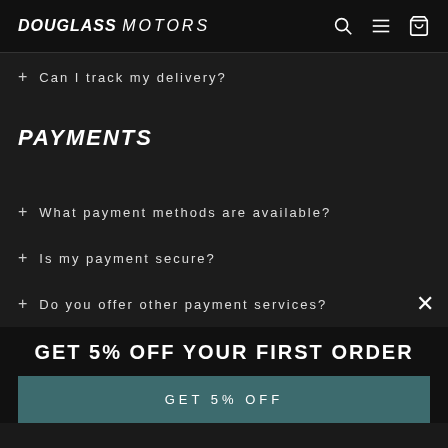DOUGLASS MOTORS
+ Can I track my delivery?
PAYMENTS
+ What payment methods are available?
+ Is my payment secure?
+ Do you offer other payment services?
GET 5% OFF YOUR FIRST ORDER
GET 5% OFF